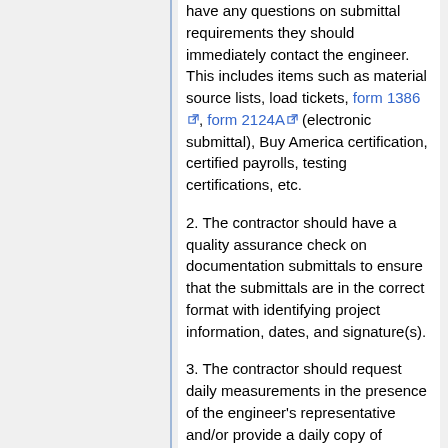have any questions on submittal requirements they should immediately contact the engineer. This includes items such as material source lists, load tickets, form 1386, form 2124A (electronic submittal), Buy America certification, certified payrolls, testing certifications, etc.
2. The contractor should have a quality assurance check on documentation submittals to ensure that the submittals are in the correct format with identifying project information, dates, and signature(s).
3. The contractor should request daily measurements in the presence of the engineer's representative and/or provide a daily copy of measured quantities to the engineer's representative so discrepancies can be identified promptly.